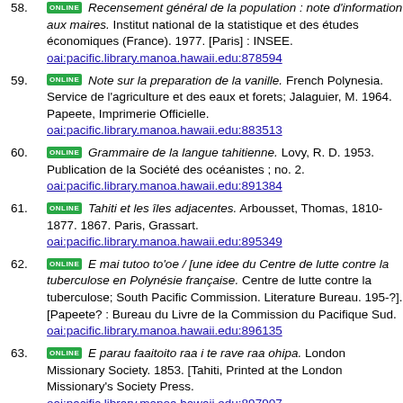58. ONLINE Recensement général de la population : note d'information aux maires. Institut national de la statistique et des études économiques (France). 1977. [Paris] : INSEE. oai:pacific.library.manoa.hawaii.edu:878594
59. ONLINE Note sur la preparation de la vanille. French Polynesia. Service de l'agriculture et des eaux et forets; Jalaguier, M. 1964. Papeete, Imprimerie Officielle. oai:pacific.library.manoa.hawaii.edu:883513
60. ONLINE Grammaire de la langue tahitienne. Lovy, R. D. 1953. Publication de la Société des océanistes ; no. 2. oai:pacific.library.manoa.hawaii.edu:891384
61. ONLINE Tahiti et les îles adjacentes. Arbousset, Thomas, 1810-1877. 1867. Paris, Grassart. oai:pacific.library.manoa.hawaii.edu:895349
62. ONLINE E mai tutoo to'oe / [une idee du Centre de lutte contre la tuberculose en Polynésie française. Centre de lutte contre la tuberculose; South Pacific Commission. Literature Bureau. 195-?]. [Papeete? : Bureau du Livre de la Commission du Pacifique Sud. oai:pacific.library.manoa.hawaii.edu:896135
63. ONLINE E parau faaitoito raa i te rave raa ohipa. London Missionary Society. 1853. [Tahiti, Printed at the London Missionary's Society Press. oai:pacific.library.manoa.hawaii.edu:897907
64. ONLINE A Tahitian and English dictionary, with introductory remarks on the Polynesian language, and a short grammar of the Tahitian dialect: with an appendix containing a list of foreign words used in the Tahitian Bible, in commerce, etc.